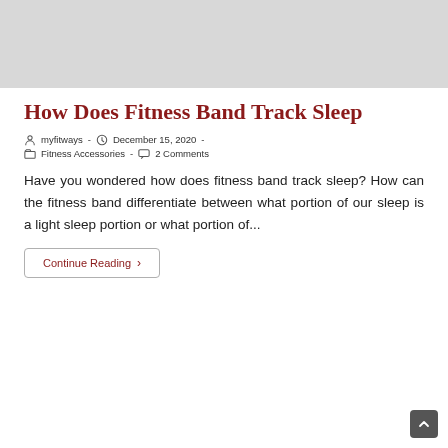[Figure (photo): Light gray placeholder image at the top of the blog post card]
How Does Fitness Band Track Sleep
myfitways  -  December 15, 2020  -  Fitness Accessories  -  2 Comments
Have you wondered how does fitness band track sleep? How can the fitness band differentiate between what portion of our sleep is a light sleep portion or what portion of...
Continue Reading ›